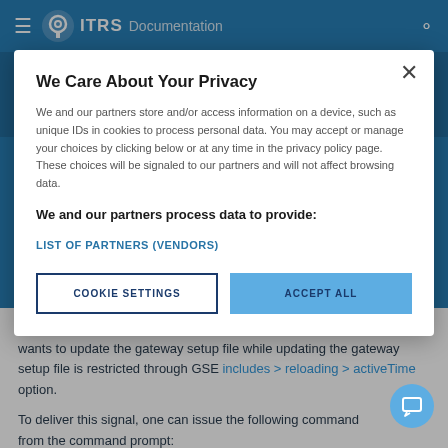≡ ITRS Documentation
[Figure (screenshot): Privacy consent modal dialog overlay on ITRS Documentation website. Modal contains title 'We Care About Your Privacy', body text about data processing, a bold section header, a link to list of partners, and two buttons: COOKIE SETTINGS and ACCEPT ALL.]
We Care About Your Privacy
We and our partners store and/or access information on a device, such as unique IDs in cookies to process personal data. You may accept or manage your choices by clicking below or at any time in the privacy policy page. These choices will be signaled to our partners and will not affect browsing data.
We and our partners process data to provide:
LIST OF PARTNERS (VENDORS)
COOKIE SETTINGS
ACCEPT ALL
if the reloading time is in an inactive period. This is useful when a user wants to update the gateway setup file while updating the gateway setup file is restricted through GSE includes > reloading > activeTime option.
To deliver this signal, one can issue the following command from the command prompt: